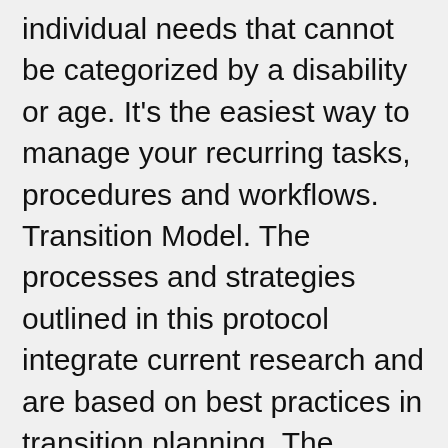individual needs that cannot be categorized by a disability or age. It's the easiest way to manage your recurring tasks, procedures and workflows. Transition Model. The processes and strategies outlined in this protocol integrate current research and are based on best practices in transition planning. The checklist can guide your section of topics on the website to review (Planning for the Future Checklist). 1 Introduction to the Employee Transition Plan: 2 Complete checklist details ; 3 Enter the incumbent employee details ; 4 Enter the successor employee details ; 5 Assign tasks to the successor's new line manager ; 6 Assign tasks to the successor's new line...